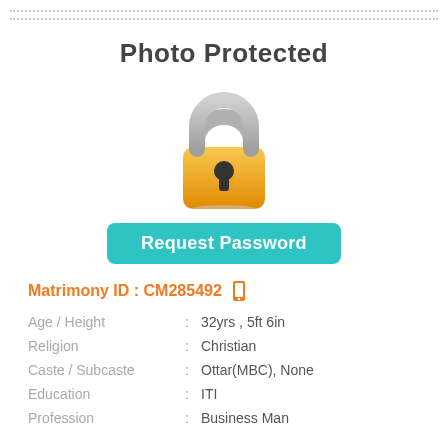[Figure (illustration): Photo Protected lock icon with 'Request Password' button]
Matrimony ID : CM285492
| Field | : | Value |
| --- | --- | --- |
| Age / Height | : | 32yrs , 5ft 6in |
| Religion | : | Christian |
| Caste / Subcaste | : | Ottar(MBC), None |
| Education | : | ITI |
| Profession | : | Business Man |